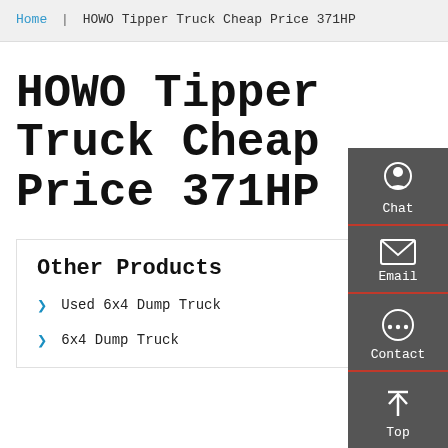Home | HOWO Tipper Truck Cheap Price 371HP
HOWO Tipper Truck Cheap Price 371HP
Other Products
Used 6x4 Dump Truck
6x4 Dump Truck